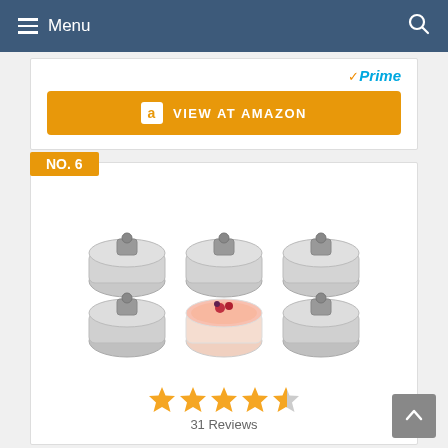Menu
[Figure (other): Amazon Prime badge with checkmark]
VIEW AT AMAZON
NO. 6
[Figure (photo): 3x3 grid of stainless steel mini cake molds/rings. The center one shows a small pink dessert with berry topping.]
[Figure (other): Star rating: 4.5 out of 5 stars]
31 Reviews